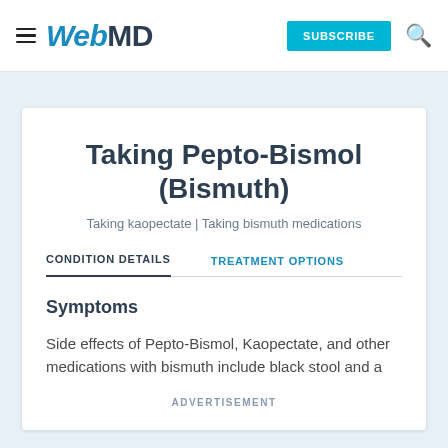WebMD — SUBSCRIBE
Taking Pepto-Bismol (Bismuth)
Taking kaopectate | Taking bismuth medications
CONDITION DETAILS   TREATMENT OPTIONS
Symptoms
Side effects of Pepto-Bismol, Kaopectate, and other medications with bismuth include black stool and a
ADVERTISEMENT